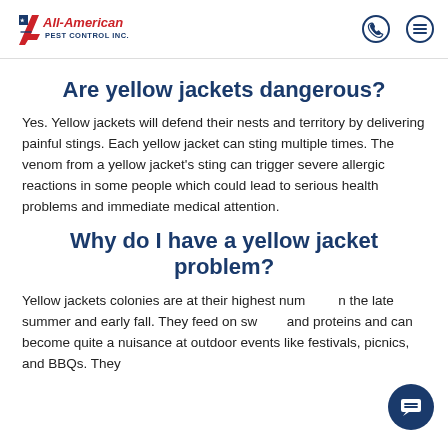All-American Pest Control Inc.
Are yellow jackets dangerous?
Yes. Yellow jackets will defend their nests and territory by delivering painful stings. Each yellow jacket can sting multiple times. The venom from a yellow jacket's sting can trigger severe allergic reactions in some people which could lead to serious health problems and immediate medical attention.
Why do I have a yellow jacket problem?
Yellow jackets colonies are at their highest numbers in the late summer and early fall. They feed on sweets and proteins and can become quite a nuisance at outdoor events like festivals, picnics, and BBQs. They